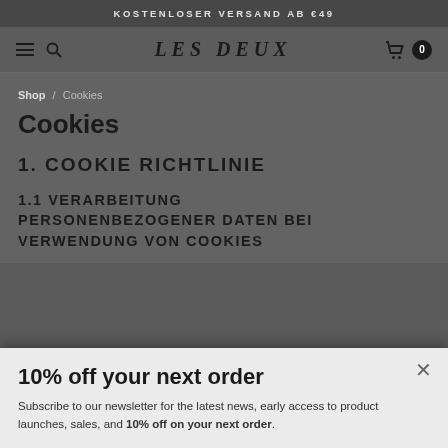KOSTENLOSER VERSAND AB €49
LES DEUX
Shop / Cookies
Cookies
1. COOKIE RICHTLINIE
1.1 VERARBEITUNG PERSONENBEZOGENER DATEN BEI VERWENDUNG VON COOKIES
10% off your next order
Subscribe to our newsletter for the latest news, early access to product launches, sales, and 10% off on your next order.